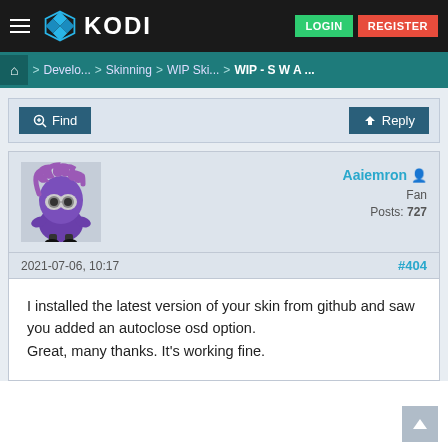KODI — LOGIN  REGISTER
Home > Develo... > Skinning > WIP Ski... > WIP - S W A ...
Find   Reply
[Figure (illustration): Purple minion character avatar with wild hair and goggles]
Aaiemron
Fan
Posts: 727
2021-07-06, 10:17   #404
I installed the latest version of your skin from github and saw you added an autoclose osd option.
Great, many thanks. It's working fine.